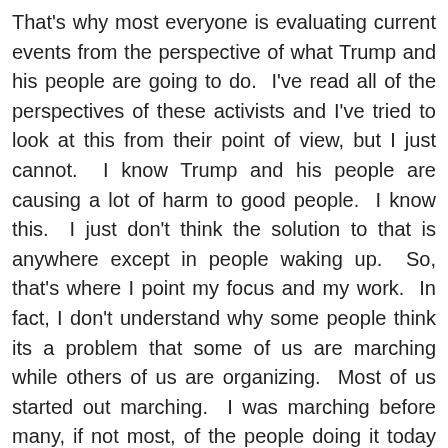That's why most everyone is evaluating current events from the perspective of what Trump and his people are going to do.  I've read all of the perspectives of these activists and I've tried to look at this from their point of view, but I just cannot.  I know Trump and his people are causing a lot of harm to good people.  I know this.  I just don't think the solution to that is anywhere except in people waking up.  So, that's where I point my focus and my work.  In fact, I don't understand why some people think its a problem that some of us are marching while others of us are organizing.  Most of us started out marching.  I was marching before many, if not most, of the people doing it today were even thought of.  Its that experience that has brought me to where I am today.  So, let the marches happen, but I'll probably not be out there.  I'll be